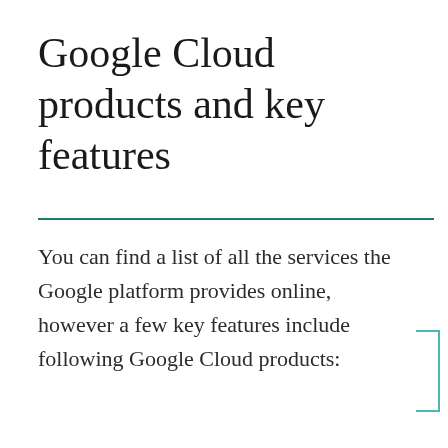Google Cloud products and key features
You can find a list of all the services the Google platform provides online, however a few key features include following Google Cloud products: